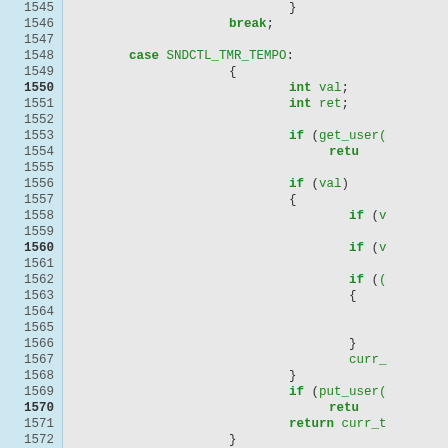[Figure (screenshot): Source code viewer showing C code lines 1545-1574, with line numbers in a blue-tinted left column and code in a grey area. Bold line numbers at 1550, 1560, 1570. Code includes a switch case for SNDCTL_TMR_TEMPO with int val, int ret, get_user, put_user, return statements, and nested if blocks.]